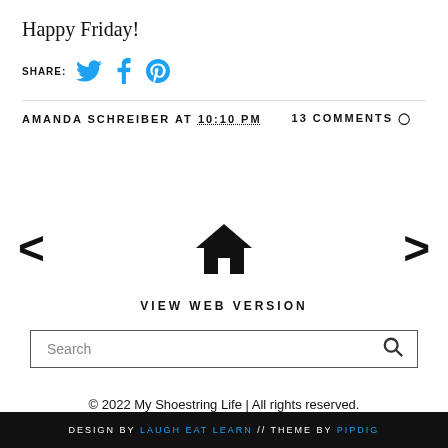Happy Friday!
SHARE: [Twitter icon] [Facebook icon] [Pinterest icon]
AMANDA SCHREIBER AT 10:10 PM   13 COMMENTS
[Figure (infographic): Navigation block with left arrow, home icon, and right arrow]
VIEW WEB VERSION
Search
© 2022 My Shoestring Life | All rights reserved.
DESIGN BY LAUGH EAT LEARN // THEME BY PIPDIG